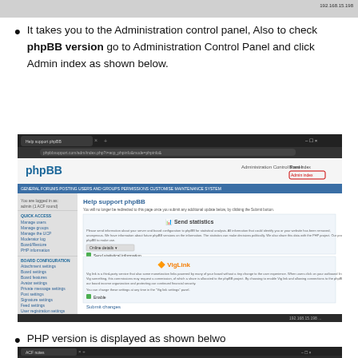192.168.15.198
It takes you to the Administration control panel, Also to check phpBB version go to Administration Control Panel and click Admin index as shown below.
[Figure (screenshot): Screenshot of phpBB Administration Control Panel showing Help support phpBB page with Send statistics and VigLink sections]
PHP version is displayed as shown belwo
[Figure (screenshot): Bottom screenshot of ACF notes browser tab, partially visible]